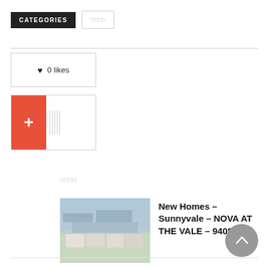CATEGORIES
0 likes
[Figure (other): Orange plus button with tick marks]
□□□□
New Homes – Sunnyvale – NOVA AT THE VALE – 94085
[Figure (photo): Aerial view of Sunnyvale residential development NOVA AT THE VALE]